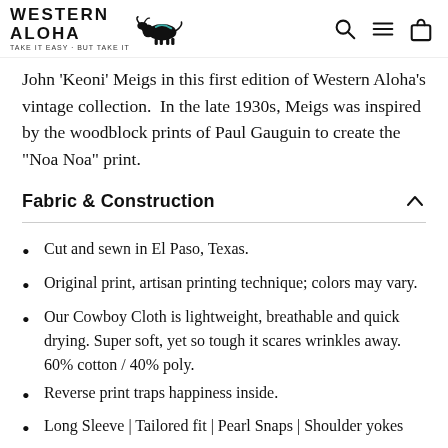WESTERN ALOHA — TAKE IT EASY · BUT TAKE IT
John 'Keoni' Meigs in this first edition of Western Aloha's vintage collection. In the late 1930s, Meigs was inspired by the woodblock prints of Paul Gauguin to create the "Noa Noa" print.
Fabric & Construction
Cut and sewn in El Paso, Texas.
Original print, artisan printing technique; colors may vary.
Our Cowboy Cloth is lightweight, breathable and quick drying. Super soft, yet so tough it scares wrinkles away. 60% cotton / 40% poly.
Reverse print traps happiness inside.
Long Sleeve | Tailored fit | Pearl Snaps | Shoulder yokes
Performance from sea to snow and beach to...